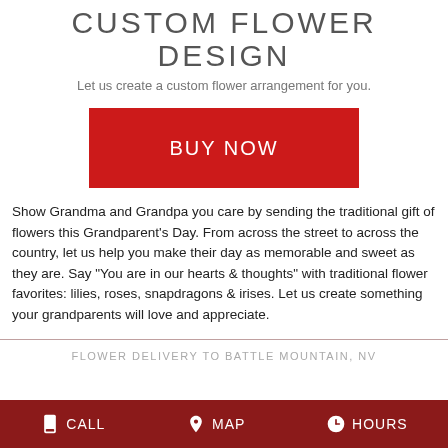CUSTOM FLOWER DESIGN
Let us create a custom flower arrangement for you.
[Figure (other): Red BUY NOW button]
Show Grandma and Grandpa you care by sending the traditional gift of flowers this Grandparent's Day. From across the street to across the country, let us help you make their day as memorable and sweet as they are. Say "You are in our hearts & thoughts" with traditional flower favorites: lilies, roses, snapdragons & irises. Let us create something your grandparents will love and appreciate.
FLOWER DELIVERY TO BATTLE MOUNTAIN, NV
CALL   MAP   HOURS